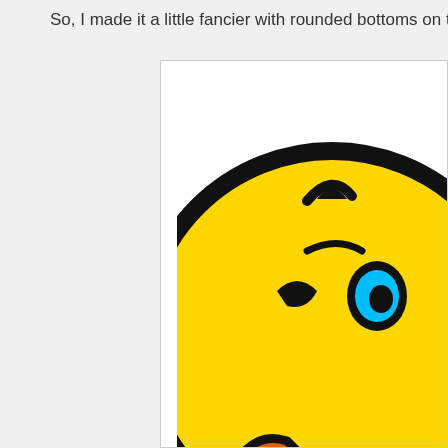So, I made it a little fancier with rounded bottoms on the 2 m
[Figure (illustration): Partial view of a cartoon emoji/mascot character with a yellow round face, black outline, orange and white elements at the bottom, set against a white background with a light gray border. Only the right portion of the image is visible.]